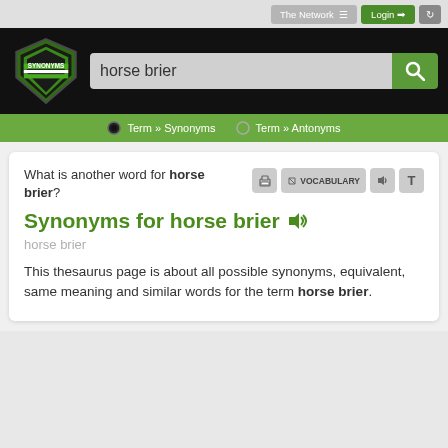[Figure (screenshot): Top navigation bar with 'The Network', 'Login', and history icon buttons]
[Figure (screenshot): Synonyms.com website header with shield logo, search bar containing 'horse brier', and search button]
[Figure (screenshot): Green tab bar with 'Term » Synonyms' and 'Term » Antonyms' options]
What is another word for horse brier?
Synonyms for horse brier
horse brier
This thesaurus page is about all possible synonyms, equivalent, same meaning and similar words for the term horse brier.